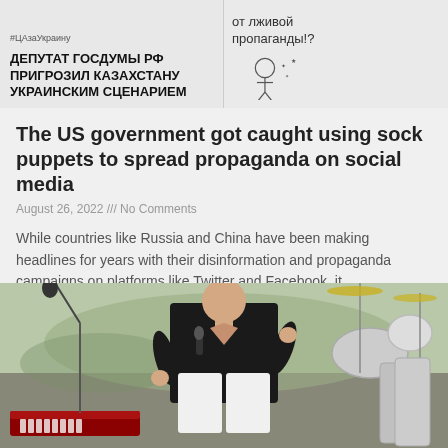[Figure (photo): Two social media post images side by side: left shows Russian text 'ДЕПУТАТ ГОСДУМЫ РФ ПРИГРОЗИЛ КАЗАХСТАНУ УКРАИНСКИМ СЦЕНАРИЕМ' with hashtag #ЦАзаУкраину; right shows Cyrillic protest text 'от лживой пропаганды!?' with cartoon illustration]
The US government got caught using sock puppets to spread propaganda on social media
August 26, 2022 /// No Comments
While countries like Russia and China have been making headlines for years with their disinformation and propaganda campaigns on platforms like Twitter and Facebook, it
Read More »
[Figure (photo): A performer in a black shirt and white pants singing into a microphone at an outdoor event, with drum kit visible on the right and a keyboard in the lower left]